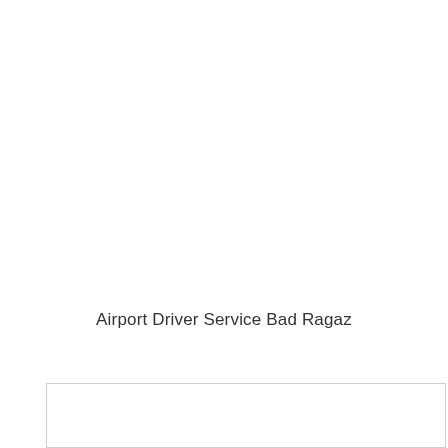Airport Driver Service Bad Ragaz
[Figure (other): Empty white box with border at the bottom of the page]